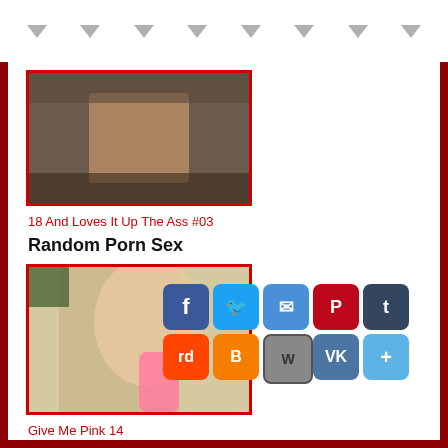navigation arrows header
[Figure (photo): Adult content thumbnail - video still]
18 And Loves It Up The Ass #03
Random Porn Sex
[Figure (photo): Adult content thumbnail - Give Me Pink 14]
Give Me Pink 14
[Figure (screenshot): Social sharing buttons: Facebook, Twitter, Email, Pinterest, Tumblr, Reddit, Blogger, WordPress, VK, Add]
[Figure (photo): Adult content thumbnail - partially visible at bottom]